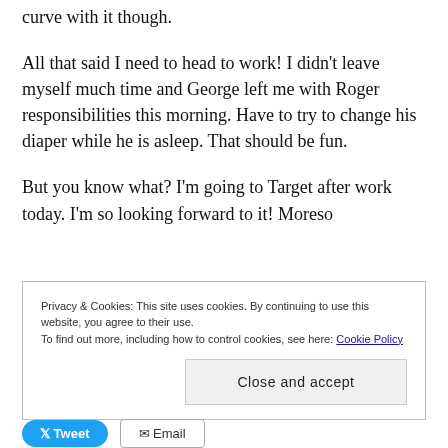curve with it though.
All that said I need to head to work! I didn't leave myself much time and George left me with Roger responsibilities this morning. Have to try to change his diaper while he is asleep. That should be fun.
But you know what? I'm going to Target after work today. I'm so looking forward to it! Moreso
Privacy & Cookies: This site uses cookies. By continuing to use this website, you agree to their use.
To find out more, including how to control cookies, see here: Cookie Policy
Close and accept